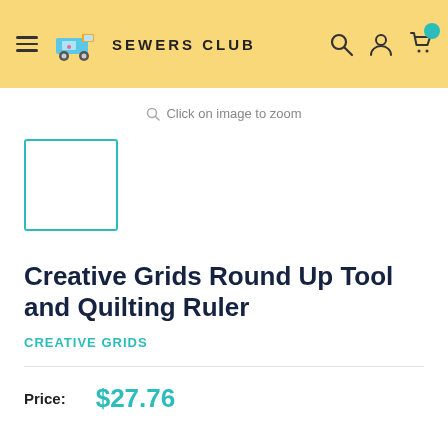SEWERS CLUB
Click on image to zoom
[Figure (other): Product thumbnail placeholder box with teal border]
Creative Grids Round Up Tool and Quilting Ruler
CREATIVE GRIDS
Price: $27.76